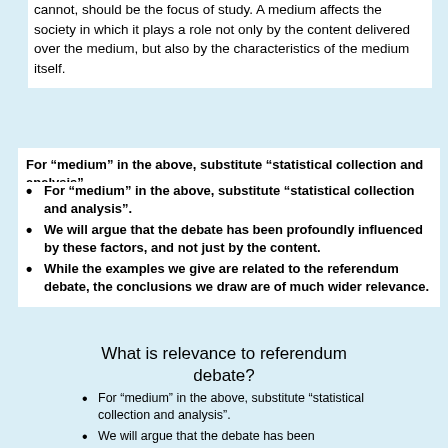...cannot, should be the focus of study. A medium affects the society in which it plays a role not only by the content delivered over the medium, but also by the characteristics of the medium itself.
For “medium” in the above, substitute “statistical collection and analysis”.
For “medium” in the above, substitute “statistical collection and analysis”.
We will argue that the debate has been profoundly influenced by these factors, and not just by the content.
While the examples we give are related to the referendum debate, the conclusions we draw are of much wider relevance.
What is relevance to referendum debate?
For “medium” in the above, substitute “statistical collection and analysis”.
We will argue that the debate has been profoundly influenced by these factors, and not just by the content.
While the examples we give are related to...